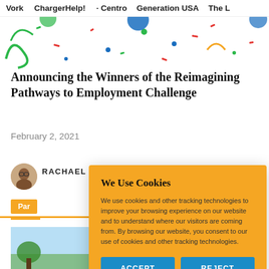Vork   ChargerHelp!   · Centro   Generation USA   The L
[Figure (illustration): Colorful confetti decoration strip across the top of the page with green, yellow, blue, and red confetti pieces scattered on a white background]
Announcing the Winners of the Reimagining Pathways to Employment Challenge
February 2, 2021
[Figure (photo): Small circular avatar photo of a woman with glasses, brown hair]
RACHAEL DREW
Par
[Figure (photo): Partial view of an outdoor photo with blue sky at the bottom of the page]
We Use Cookies
We use cookies and other tracking technologies to improve your browsing experience on our website and to understand where our visitors are coming from. By browsing our website, you consent to our use of cookies and other tracking technologies.
ACCEPT
REJECT